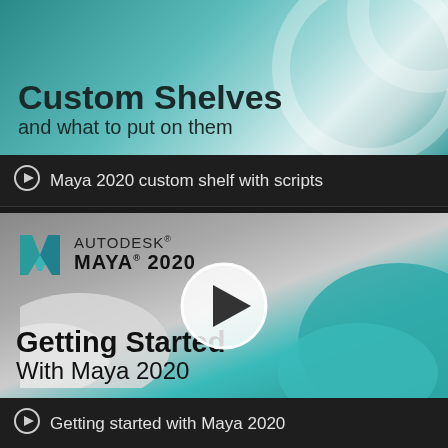[Figure (screenshot): Thumbnail image for Maya 2020 custom shelves tutorial showing teal/white swirling 3D shapes with text 'Custom Shelves and what to put on them']
⊙ Maya 2020 custom shelf with scripts
[Figure (screenshot): Thumbnail for 'Getting Started With Maya 2020' tutorial showing Autodesk Maya 2020 logo, teal/white 3D shapes background, and a large play button overlay]
⊙ Getting started with Maya 2020
[Figure (screenshot): Partial bottom thumbnail of another video tutorial, partially cropped]